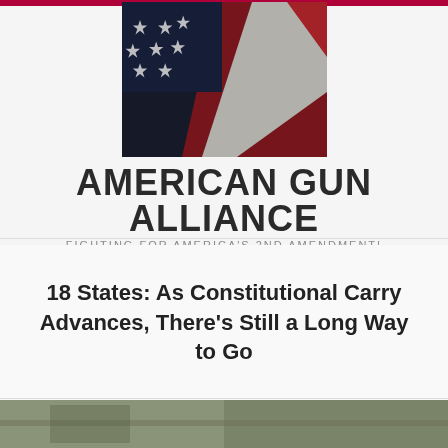[Figure (photo): Close-up photo of an American flag showing stars and red/white stripes on dark background]
AMERICAN GUN ALLIANCE
FIGHTING FOR AMERICA'S 2ND AMENDMENT!
18 States: As Constitutional Carry Advances, There's Still a Long Way to Go
[Figure (photo): Partial bottom strip showing an outdoor scene, cut off at bottom of page]